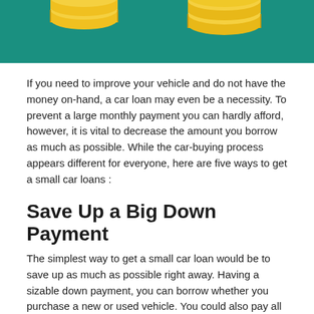[Figure (illustration): Gold coins stacked on a teal/green background, decorative banner image at top of page]
If you need to improve your vehicle and do not have the money on-hand, a car loan may even be a necessity. To prevent a large monthly payment you can hardly afford, however, it is vital to decrease the amount you borrow as much as possible. While the car-buying process appears different for everyone, here are five ways to get a small car loans :
Save Up a Big Down Payment
The simplest way to get a small car loan would be to save up as much as possible right away. Having a sizable down payment, you can borrow whether you purchase a new or used vehicle. You could also pay all your lender fees and taxes out-of-pocket, reducing the quantity of your loan. Saving up a huge down payment is not hard; it just takes...